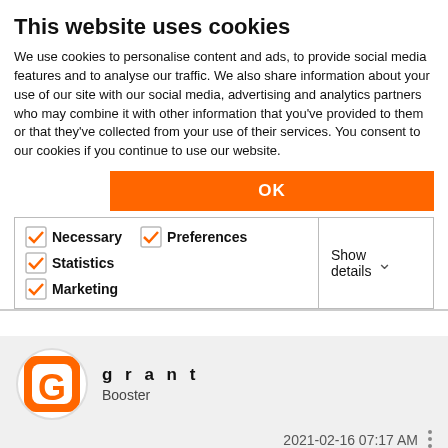This website uses cookies
We use cookies to personalise content and ads, to provide social media features and to analyse our traffic. We also share information about your use of our site with our social media, advertising and analytics partners who may combine it with other information that you've provided to them or that they've collected from your use of their services. You consent to our cookies if you continue to use our website.
OK
Necessary  Preferences  Statistics  Marketing  Show details
grant
Booster
2021-02-16 07:17 AM
Hello Barry,
Thanks for the reply and input. I suspected as much. It would be nice if this was controllable by the Saved View or something like that. The annotation scale by layers reminds